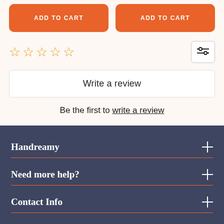[Figure (other): Two orange ADD TO CART buttons side by side]
[Figure (other): Five empty star rating icons in orange/yellow outline]
[Figure (other): Filter/settings icon in a bordered box]
Write a review
Be the first to write a review
Handreamy
Need more help?
Contact Info